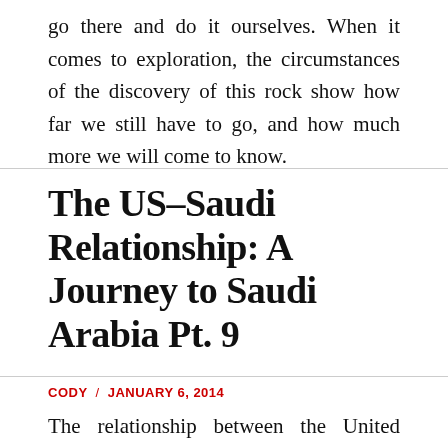go there and do it ourselves. When it comes to exploration, the circumstances of the discovery of this rock show how far we still have to go, and how much more we will come to know.
The US–Saudi Relationship: A Journey to Saudi Arabia Pt. 9
CODY / JANUARY 6, 2014
The relationship between the United States and Saudi Arabia has been a long, important, and impactful one. The consequences have proven time and again will...